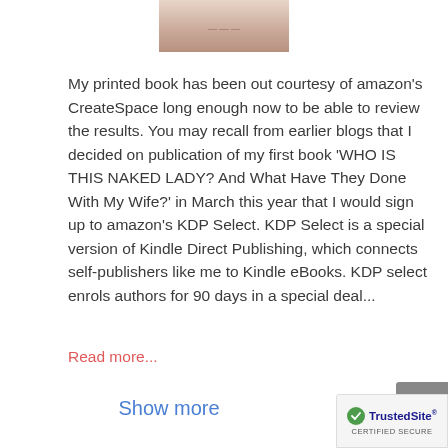[Figure (photo): Partial image of a person or book cover at the top center of the page]
My printed book has been out courtesy of amazon's CreateSpace long enough now to be able to review the results. You may recall from earlier blogs that I decided on publication of my first book 'WHO IS THIS NAKED LADY? And What Have They Done With My Wife?' in March this year that I would sign up to amazon's KDP Select. KDP Select is a special version of Kindle Direct Publishing, which connects self-publishers like me to Kindle eBooks. KDP select enrols authors for 90 days in a special deal...
Read more...
Show more
[Figure (logo): TrustedSite CERTIFIED SECURE badge in bottom right corner]